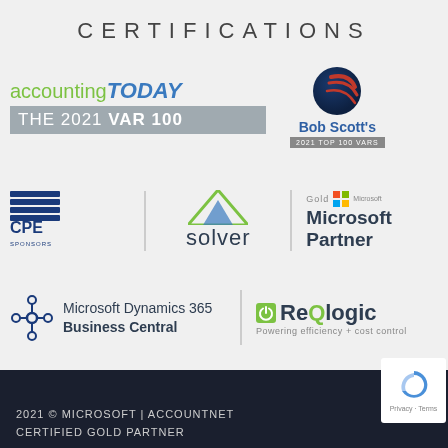CERTIFICATIONS
[Figure (logo): Accounting Today - THE 2021 VAR 100 logo]
[Figure (logo): Bob Scott's 2021 Top 100 VARS logo]
[Figure (logo): National Registry of CPE Sponsors logo]
[Figure (logo): Solver logo with triangle graphic]
[Figure (logo): Gold Microsoft Partner logo]
[Figure (logo): Microsoft Dynamics 365 Business Central logo]
[Figure (logo): ReQlogic - Powering efficiency + cost control logo]
2021 © MICROSOFT | ACCOUNTNET
CERTIFIED GOLD PARTNER